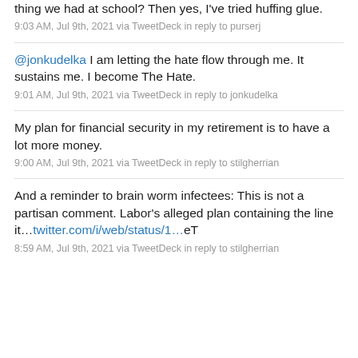thing we had at school? Then yes, I've tried huffing glue.
9:03 AM, Jul 9th, 2021 via TweetDeck in reply to purserj
@jonkudelka I am letting the hate flow through me. It sustains me. I become The Hate.
9:01 AM, Jul 9th, 2021 via TweetDeck in reply to jonkudelka
My plan for financial security in my retirement is to have a lot more money.
9:00 AM, Jul 9th, 2021 via TweetDeck in reply to stilgherrian
And a reminder to brain worm infectees: This is not a partisan comment. Labor's alleged plan containing the line it...twitter.com/i/web/status/1…eT
8:59 AM, Jul 9th, 2021 via TweetDeck in reply to stilgherrian